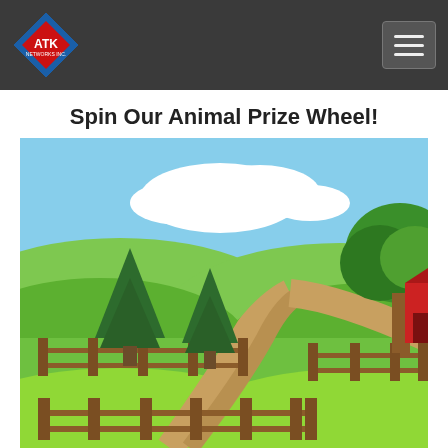[Figure (logo): ATK logo with red diamond shape and company text]
Spin Our Animal Prize Wheel!
[Figure (illustration): Cartoon farm scene with green hills, blue sky, white clouds, pine trees, wooden fences, a dirt path, and a red barn in the background on the right side.]